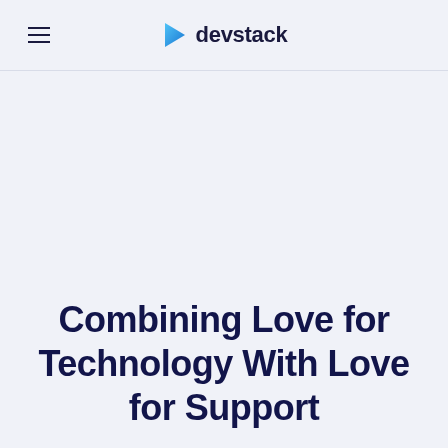devstack
Combining Love for Technology With Love for Support